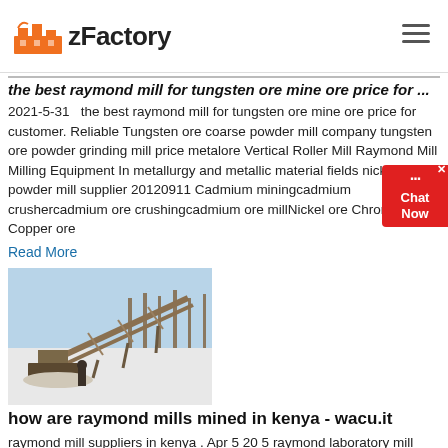zFactory
the best raymond mill for tungsten ore mine ore price for ...
2021-5-31   the best raymond mill for tungsten ore mine ore price for customer. Reliable Tungsten ore coarse powder mill company tungsten ore powder grinding mill price metalore Vertical Roller Mill Raymond Mill Milling Equipment In metallurgy and metallic material fields nickel ore powder mill supplier 20120911 Cadmium miningcadmium crushercadmium ore crushingcadmium ore millNickel ore Chrome ore Copper ore
Read More
[Figure (photo): Industrial conveyor belt and machinery at a mining or quarry site in winter with snow on the ground and bare trees in the background]
how are raymond mills mined in kenya - wacu.it
raymond mill suppliers in kenya . Apr 5 20 5 raymond laboratory mill hammer parts flyash grinding equipment raymond Per Hour Raymond Mill raymond mill iron ore refinery south kenya small iron ore crusher ball mill...